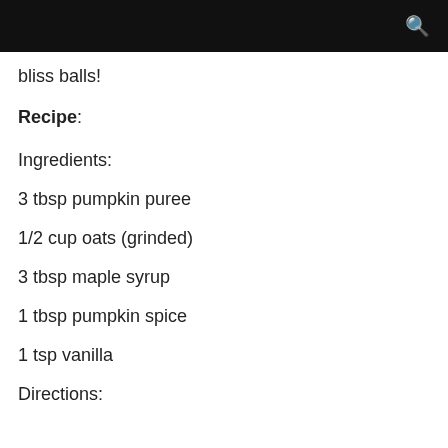🔍
bliss balls!
Recipe:
Ingredients:
3 tbsp pumpkin puree
1/2 cup oats (grinded)
3 tbsp maple syrup
1 tbsp pumpkin spice
1 tsp vanilla
Directions: